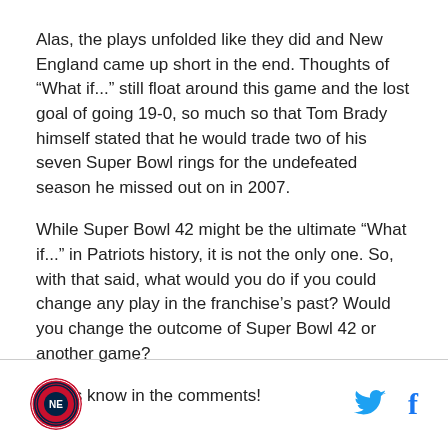Alas, the plays unfolded like they did and New England came up short in the end. Thoughts of “What if...” still float around this game and the lost goal of going 19-0, so much so that Tom Brady himself stated that he would trade two of his seven Super Bowl rings for the undefeated season he missed out on in 2007.
While Super Bowl 42 might be the ultimate “What if...” in Patriots history, it is not the only one. So, with that said, what would you do if you could change any play in the franchise’s past? Would you change the outcome of Super Bowl 42 or another game?
Let us know in the comments!
[Figure (logo): Circular team logo with red, white, and blue design]